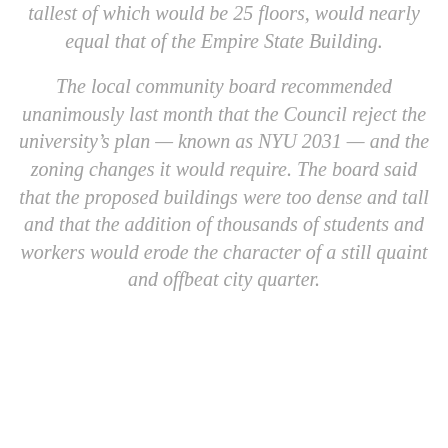tallest of which would be 25 floors, would nearly equal that of the Empire State Building.
The local community board recommended unanimously last month that the Council reject the university's plan — known as NYU 2031 — and the zoning changes it would require. The board said that the proposed buildings were too dense and tall and that the addition of thousands of students and workers would erode the character of a still quaint and offbeat city quarter.